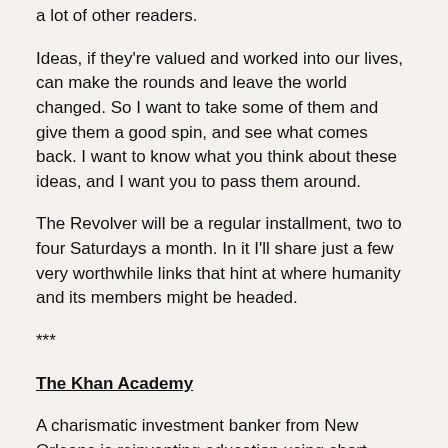a lot of other readers.
Ideas, if they're valued and worked into our lives, can make the rounds and leave the world changed. So I want to take some of them and give them a good spin, and see what comes back. I want to know what you think about these ideas, and I want you to pass them around.
The Revolver will be a regular installment, two to four Saturdays a month. In it I'll share just a few very worthwhile links that hint at where humanity and its members might be headed.
***
The Khan Academy
A charismatic investment banker from New Orleans is reinventing education using short, concise videos. Sal Khan understands where traditional education is failing and has taken it upon himself to find a better way.
He articulates the absurdity of the current system...